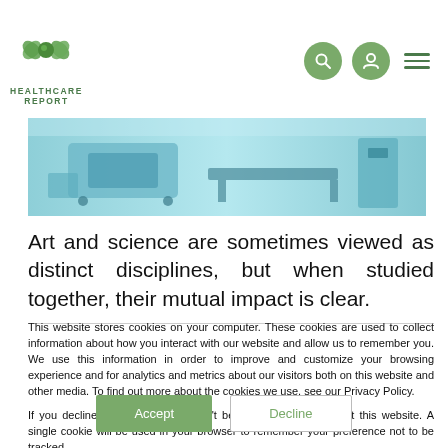[Figure (logo): Healthcare Report logo with green cross/flower icon and text HEALTHCARE REPORT]
[Figure (photo): Banner photo of medical/hospital equipment including MRI or CT scanner in blue-tinted light]
Art and science are sometimes viewed as distinct disciplines, but when studied together, their mutual impact is clear.
This website stores cookies on your computer. These cookies are used to collect information about how you interact with our website and allow us to remember you. We use this information in order to improve and customize your browsing experience and for analytics and metrics about our visitors both on this website and other media. To find out more about the cookies we use, see our Privacy Policy.
If you decline, your information won't be tracked when you visit this website. A single cookie will be used in your browser to remember your preference not to be tracked.